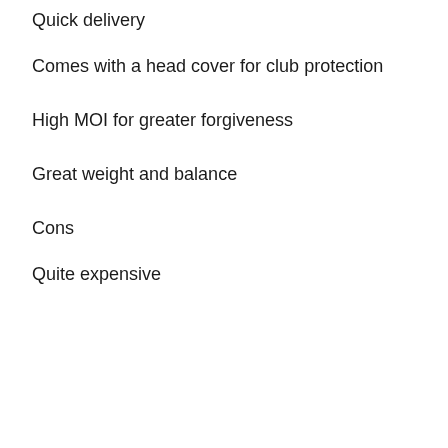Quick delivery
Comes with a head cover for club protection
High MOI for greater forgiveness
Great weight and balance
Cons
Quite expensive
[Figure (other): Amazon product listing box showing the Amazon logo with orange arrow and a golf club putter head image]